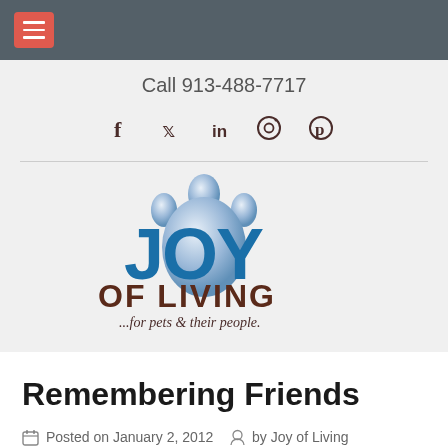Navigation bar with hamburger menu
Call 913-488-7717
[Figure (logo): Social media icons: Facebook, Twitter, LinkedIn, Instagram, Pinterest]
[Figure (logo): Joy of Living logo — blue JOY letters with paw print, brown OF LIVING text, tagline: ...for pets & their people.]
Remembering Friends
Posted on January 2, 2012   by Joy of Living